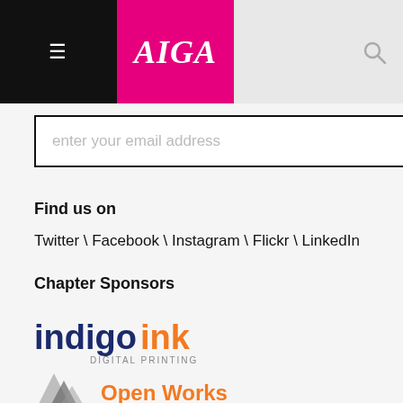AIGA
enter your email address
Find us on
Twitter \ Facebook \ Instagram \ Flickr \ LinkedIn
Chapter Sponsors
[Figure (logo): Indigo Ink Digital Printing logo — 'indigo' in dark navy, 'ink' in orange, DIGITAL PRINTING in grey beneath]
[Figure (logo): Open Works logo — geometric mark in grey and orange text reading Open Works]